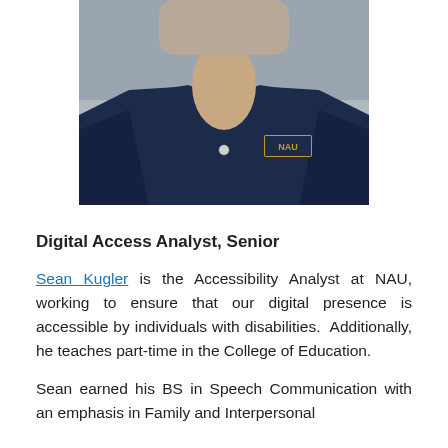[Figure (photo): Headshot photo of Sean Kugler wearing a dark navy NAU polo shirt]
Digital Access Analyst, Senior
Sean Kugler is the Accessibility Analyst at NAU, working to ensure that our digital presence is accessible by individuals with disabilities.  Additionally, he teaches part-time in the College of Education.
Sean earned his BS in Speech Communication with an emphasis in Family and Interpersonal